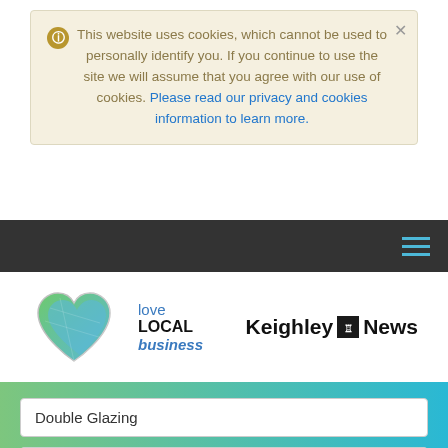This website uses cookies, which cannot be used to personally identify you. If you continue to use the site we will assume that you agree with our use of cookies. Please read our privacy and cookies information to learn more.
[Figure (screenshot): Dark navigation bar with hamburger menu icon (three blue horizontal lines) on the right]
[Figure (logo): Love LOCAL business logo with heart icon (green and blue) alongside Keighley News logo]
[Figure (screenshot): Search form with green-to-teal gradient background, containing a text field with 'Double Glazing', a placeholder field 'UK, town or postcode', and a blue Search button]